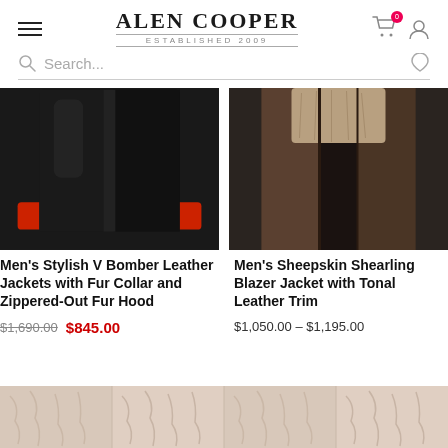Alen Cooper — Established 2009
Search...
[Figure (photo): Men's stylish V bomber leather jacket with fur collar and zippered-out fur hood, showing lower half of jacket with red cuffs on dark background]
Men's Stylish V Bomber Leather Jackets with Fur Collar and Zippered-Out Fur Hood
$1,690.00  $845.00
[Figure (photo): Men's sheepskin shearling blazer jacket with tonal leather trim, showing torso with open jacket on dark background]
Men's Sheepskin Shearling Blazer Jacket with Tonal Leather Trim
$1,050.00 – $1,195.00
[Figure (photo): Decorative footer strip showing repeated texture pattern of lamb/shearling fur in light beige/pink tones]